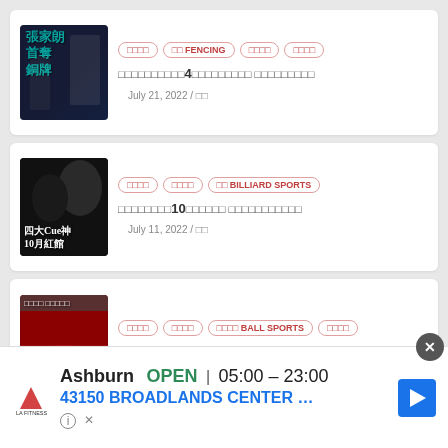[Figure (photo): Fencing sports article thumbnail with Chinese text 張家朗首奪銅牌]
Tags: □□□□  □□ FENCING  □□□□  □□□□
□□□□□□□□□□4□□□□□□□□□ □□□□□□□□□
July 21, 2022 / □□
[Figure (photo): Billiard sports article thumbnail with Chinese text 四大Cue神 10月紅館]
Tags: □□□□  □□□□  □□ BILLIARD SPORTS
□□□□□□□□10□□□□□□ □□□□□□□□□□□
July 11, 2022 / □□
[Figure (photo): Ball sports article thumbnail showing team celebration]
Tags: □□□□  □□□□  □□□□ BALL SPORTS  □□□□
□□□□□□□□□□□□□□ □□□□□□□□□□□□□□□
[Figure (screenshot): LA Fitness advertisement: Ashburn OPEN 05:00-23:00, 43150 BROADLANDS CENTER ...]